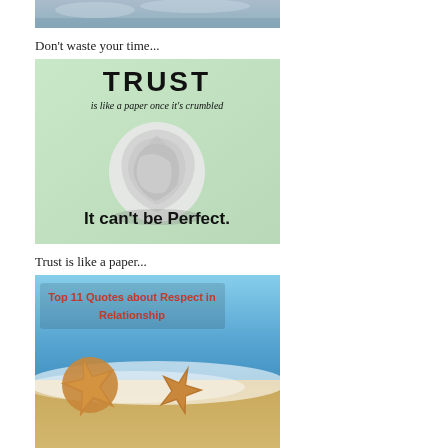[Figure (photo): Partial photo of a landscape/scene, cropped at top of page]
Don't waste your time...
[Figure (illustration): Quote image with light green background showing a crumbled paper ball. Text reads: 'TRUST is like a paper once it's crumbled It can't be Perfect.']
Trust is like a paper...
[Figure (photo): Beach photo with two starfish on sand near ocean waves. Text overlay reads 'Top 11 Quotes about Respect in Relationship' in red.]
Top 11 Quotes about Respect in Relationship